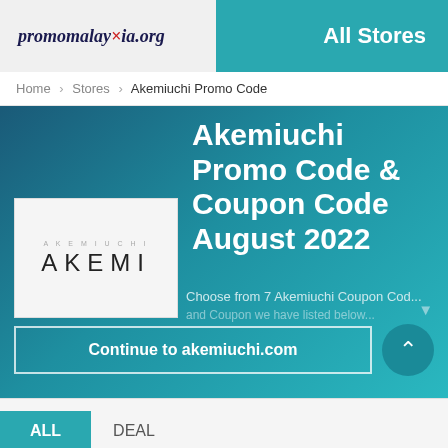promomalaysia.org — All Stores
Home > Stores > Akemiuchi Promo Code
Akemiuchi Promo Code & Coupon Code August 2022
[Figure (logo): Akemi brand logo on white background with text AKEMI in spaced letters]
Choose from 7 Akemiuchi Coupon Cod... and Coupon we have listed below...
Continue to akemiuchi.com
ALL  DEAL